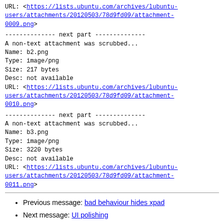URL: <https://lists.ubuntu.com/archives/lubuntu-users/attachments/20120503/78d9fd09/attachment-0009.png>
-------------- next part --------------
A non-text attachment was scrubbed...
Name: b2.png
Type: image/png
Size: 217 bytes
Desc: not available
URL: <https://lists.ubuntu.com/archives/lubuntu-users/attachments/20120503/78d9fd09/attachment-0010.png>
-------------- next part --------------
A non-text attachment was scrubbed...
Name: b3.png
Type: image/png
Size: 3220 bytes
Desc: not available
URL: <https://lists.ubuntu.com/archives/lubuntu-users/attachments/20120503/78d9fd09/attachment-0011.png>
Previous message: bad behaviour hides xpad
Next message: UI polishing
Messages sorted by: [ date ] [ thread ] [ subject ] [ author ]
More information about the Lubuntu-users mailing list